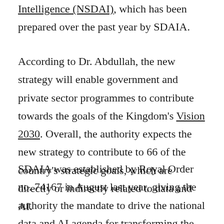Intelligence (NSDAI), which has been prepared over the past year by SDAIA.
According to Dr. Abdullah, the new strategy will enable government and private sector programmes to contribute towards the goals of the Kingdom's Vision 2030. Overall, the authority expects the new strategy to contribute to 66 of the country's strategic goals, which are directly or indirectly related to data and AI.
SDAIA was established by Royal Order no. 74167 in August last year, giving the authority the mandate to drive the national data and AI agenda for transforming the country into a leading data-driven economy. The decree also ordered the authority to establish three